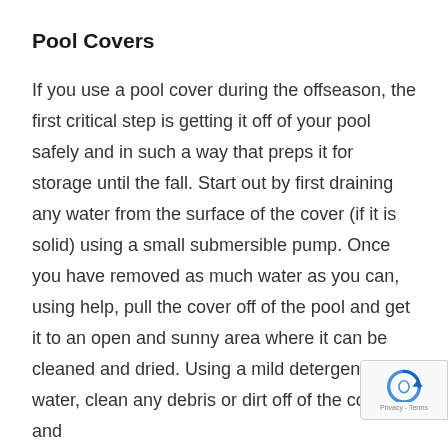Pool Covers
If you use a pool cover during the offseason, the first critical step is getting it off of your pool safely and in such a way that preps it for storage until the fall. Start out by first draining any water from the surface of the cover (if it is solid) using a small submersible pump. Once you have removed as much water as you can, using help, pull the cover off of the pool and get it to an open and sunny area where it can be cleaned and dried. Using a mild detergent and water, clean any debris or dirt off of the cover and let it air out in the sun. Treat with some kind
[Figure (logo): reCAPTCHA badge with blue circular arrow icon and Privacy - Terms text]